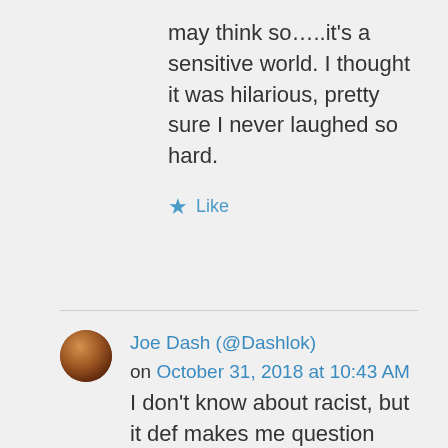may think so…..it's a sensitive world. I thought it was hilarious, pretty sure I never laughed so hard.
★ Like
Joe Dash (@Dashlok) on October 31, 2018 at 10:43 AM
I don't know about racist, but it def makes me question